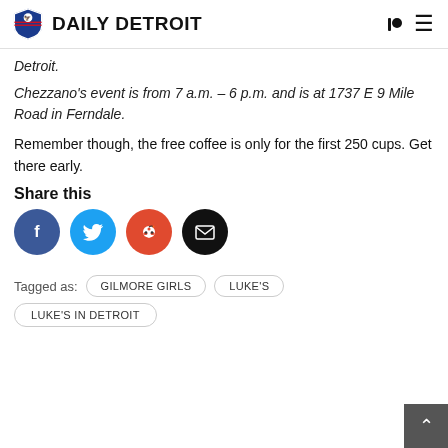DAILY DETROIT
Detroit.
Chezzano's event is from 7 a.m. – 6 p.m. and is at 1737 E 9 Mile Road in Ferndale.
Remember though, the free coffee is only for the first 250 cups. Get there early.
Share this
[Figure (infographic): Social share buttons: Facebook (blue circle with f), Twitter (light blue circle with bird), Reddit (orange circle with alien mascot), Email (black circle with envelope)]
Tagged as:  GILMORE GIRLS  LUKE'S  LUKE'S IN DETROIT